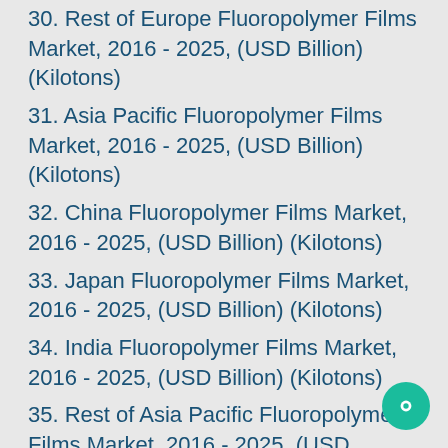30. Rest of Europe Fluoropolymer Films Market, 2016 - 2025, (USD Billion) (Kilotons)
31. Asia Pacific Fluoropolymer Films Market, 2016 - 2025, (USD Billion) (Kilotons)
32. China Fluoropolymer Films Market, 2016 - 2025, (USD Billion) (Kilotons)
33. Japan Fluoropolymer Films Market, 2016 - 2025, (USD Billion) (Kilotons)
34. India Fluoropolymer Films Market, 2016 - 2025, (USD Billion) (Kilotons)
35. Rest of Asia Pacific Fluoropolymer Films Market, 2016 - 2025, (USD Billion) (Kilotons)
36. Latin America Fluoropolymer Films Market, 2016 - 2025, (USD Billion) (Kilotons)